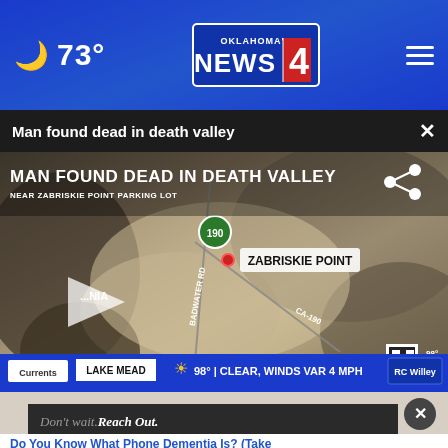73° — Oklahoma's News 4
Man found dead in death valley
[Figure (screenshot): News broadcast screenshot showing a satellite map of Death Valley near Zabriskie Point Parking Lot, with text overlay 'MAN FOUND DEAD IN DEATH VALLEY / NEAR ZABRISKIE POINT PARKING LOT', a highway 190 badge, a red dot at Zabriskie Point, and a weather strip at the bottom showing Lake Mead 98° Clear, Winds Var 4 MPH. A play button is visible on the left.]
[Figure (screenshot): Advertisement banner showing 'Don't wait. Reach Out.' in italic text with a person in background, and a close button (X) in a dark circle.]
Do You Know What Phone Dementia Is? (Take